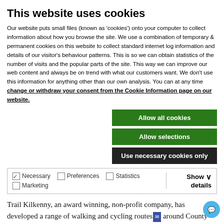This website uses cookies
Our website puts small files (known as 'cookies') onto your computer to collect information about how you browse the site. We use a combination of temporary & permanent cookies on this website to collect standard internet log information and details of our visitor's behaviour patterns. This is so we can obtain statistics of the number of visits and the popular parts of the site. This way we can improve our web content and always be on trend with what our customers want. We don't use this information for anything other than our own analysis. You can at any time change or withdraw your consent from the Cookie Information page on our website.
Allow all cookies
Allow selections
Use necessary cookies only
Necessary  Preferences  Statistics  Marketing  Show details
Trail Kilkenny Cycle Routes
Trail Kilkenny, an award winning, non-profit company, has developed a range of walking and cycling routes around County Kilkenny. Visit www.trailkilkenny.ie for self guided cycling routes and loops that bring you